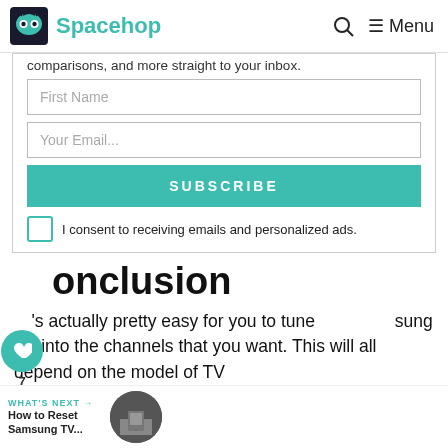Spacehop  Menu
comparisons, and more straight to your inbox.
First Name
Your Email...
SUBSCRIBE
I consent to receiving emails and personalized ads.
Conclusion
it's actually pretty easy for you to tune your Samsung TV into the channels that you want. This will all depend on the model of TV